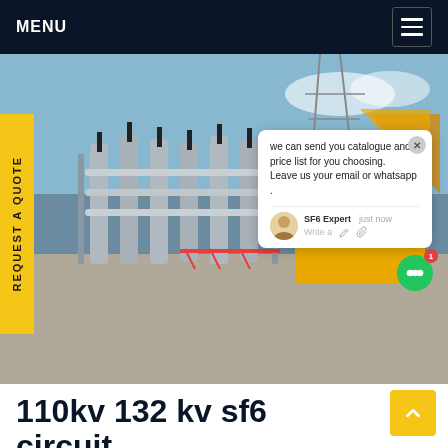MENU
[Figure (photo): Outdoor high-voltage electrical substation with 110kv/132kv SF6 circuit breakers, grey pipe bus structures, transmission towers in background, yellow service vehicle, worker in safety gear visible, industrial setting.]
REQUEST A QUOTE
we can send you catalogue and price list for you choosing. Leave us your email or whatsapp .
SF6 Expert   just now
Write a
110kv 132 kv sf6 circuit